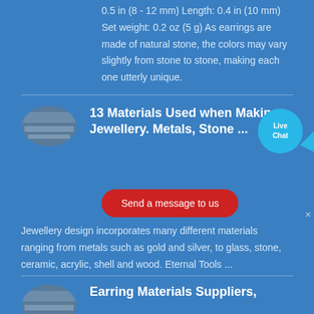0.5 in (8 - 12 mm) Length: 0.4 in (10 mm) Set weight: 0.2 oz (5 g) As earrings are made of natural stone, the colors may vary slightly from stone to stone, making each one utterly unique.
[Figure (photo): Thumbnail image of materials/stones for jewellery making]
13 Materials Used when Making Jewellery. Metals, Stone ...
[Figure (illustration): Live Chat bubble badge with blue speech bubble and 'Live Chat' text]
Send a message to us
Jewellery design incorporates many different materials ranging from metals such as gold and silver, to glass, stone, ceramic, acrylic, shell and wood. Eternal Tools ...
[Figure (photo): Thumbnail image for Earring Materials Suppliers article]
Earring Materials Suppliers,